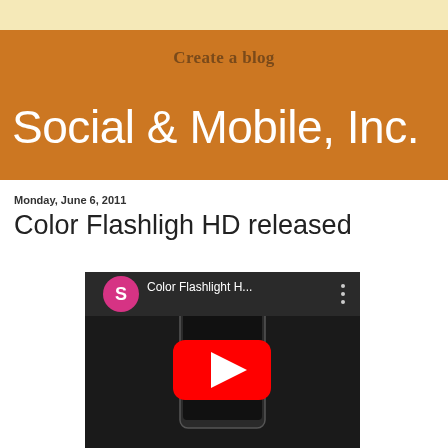Create a blog
Social & Mobile, Inc.
Monday, June 6, 2011
Color Flashligh HD released
[Figure (screenshot): YouTube video thumbnail showing a dark background with a red YouTube play button icon in the center, a smartphone outline, a pink/magenta circular avatar with letter S, and the title 'Color Flashlight H...' with a vertical three-dot menu icon in the upper right.]